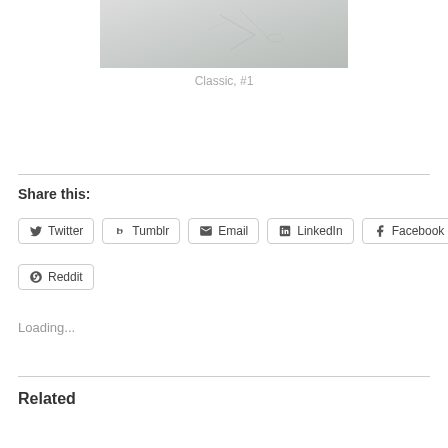[Figure (photo): A light gray textured photo showing faint sketch lines on a pale surface]
Classic, #1
Share this:
Twitter
Tumblr
Email
LinkedIn
Facebook
Reddit
Loading...
Related